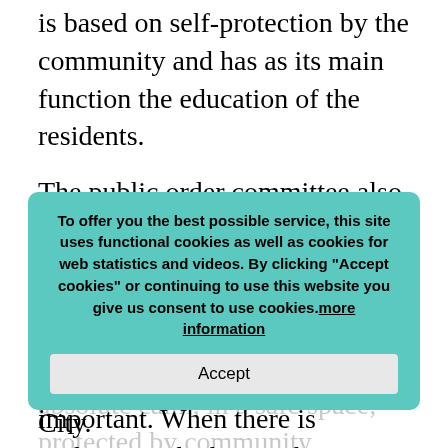is based on self-protection by the community and has as its main function the education of the residents.
The public order committee also has a role in determining the community's boundaries, deciding who can enter and who cannot. This is a central aspect of autonomy, perhaps the most important. When there is violence in the home, the children go out into the street sounding their whistle, a device also used if there is an emergency. The atmosphere in the community is so peaceful that it is possible to see children playing alone in absolute calm, in a safe space, protected by community monitoring, something unthinkable in the otherwise violent Mexico City.
To offer you the best possible service, this site uses functional cookies as well as cookies for web statistics and videos. By clicking "Accept cookies" or continuing to use this website you give us consent to use cookies.more information Accept